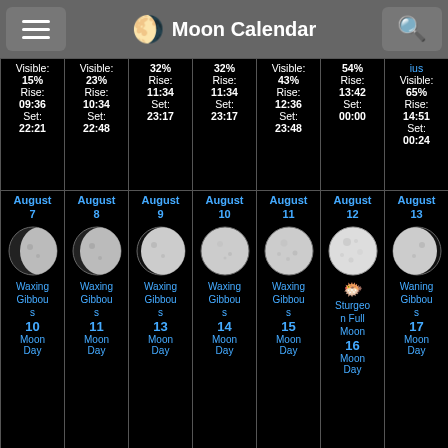Moon Calendar
| Col1 | Col2 | Col3 | Col4 | Col5 | Col6 | Col7 |
| --- | --- | --- | --- | --- | --- | --- |
| Visible: 15% Rise: 09:36 Set: 22:21 | Visible: 23% Rise: 10:34 Set: 22:48 | 32% Rise: 11:34 Set: 23:17 | 32% Rise: 11:34 Set: 23:17 | Visible: 43% Rise: 12:36 Set: 23:48 | 54% Rise: 13:42 Set: 00:00 | ius Visible: 65% Rise: 14:51 Set: 00:24 |
| August 7 Waxing Gibbous 10 Moon Day | August 8 Waxing Gibbous 11 Moon Day | August 9 Waxing Gibbous 13 Moon Day | August 10 Waxing Gibbous 14 Moon Day | August 11 Waxing Gibbous 15 Moon Day | August 12 Sturgeon Full Moon 16 Moon Day | August 13 Waning Gibbous 17 Moon Day |